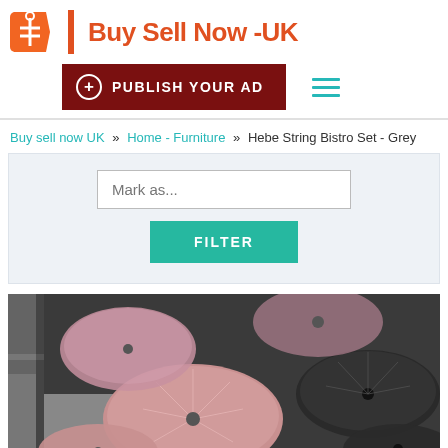[Figure (logo): Buy Sell Now UK logo with orange price tag icon and red/coral text]
[Figure (screenshot): Dark red publish your ad button with plus icon, and teal hamburger menu icon]
Buy sell now UK » Home - Furniture » Hebe String Bistro Set - Grey
[Figure (screenshot): Filter box with Mark as... input field and teal FILTER button]
[Figure (photo): Photo of pink/grey string bistro chairs stacked, outdoor furniture]